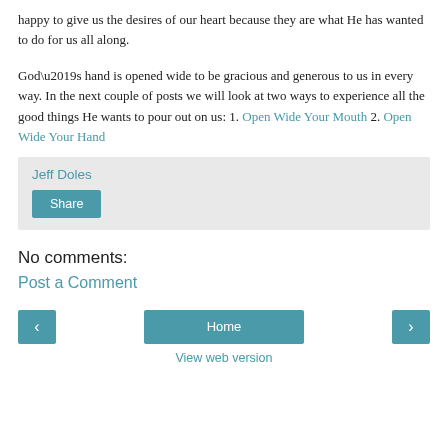happy to give us the desires of our heart because they are what He has wanted to do for us all along.
God’s hand is opened wide to be gracious and generous to us in every way. In the next couple of posts we will look at two ways to experience all the good things He wants to pour out on us: 1. Open Wide Your Mouth 2. Open Wide Your Hand
Jeff Doles
Share
No comments:
Post a Comment
< Home > View web version